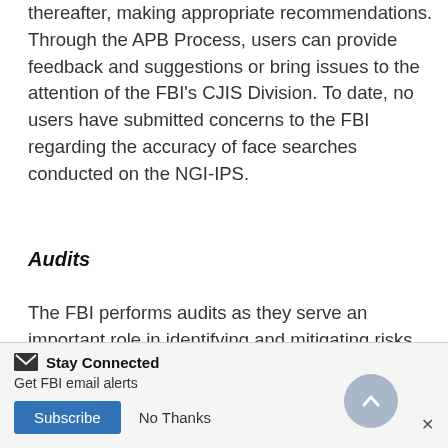thereafter, making appropriate recommendations. Through the APB Process, users can provide feedback and suggestions or bring issues to the attention of the FBI's CJIS Division. To date, no users have submitted concerns to the FBI regarding the accuracy of face searches conducted on the NGI-IPS.
Audits
The FBI performs audits as they serve an important role in identifying and mitigating risks associated with users of information systems not meeting policy requirements. In a recent audit of the FBI's
[Figure (other): Stay Connected overlay banner with email icon, 'Get FBI email alerts' text, Subscribe button, No Thanks link, scroll-to-top arrow button, and close X button]